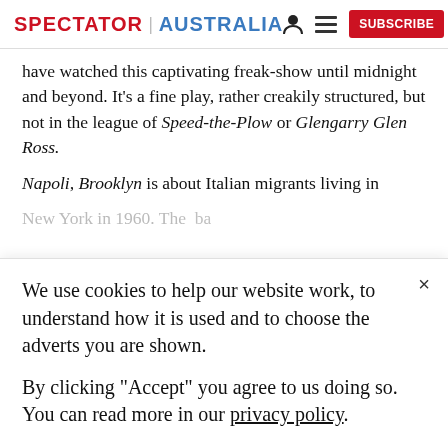SPECTATOR | AUSTRALIA
have watched this captivating freak-show until midnight and beyond. It’s a fine play, rather creakily structured, but not in the league of Speed-the-Plow or Glengarry Glen Ross.

Napoli, Brooklyn is about Italian migrants living in New York in 1960. The...
We use cookies to help our website work, to understand how it is used and to choose the adverts you are shown.

By clicking "Accept" you agree to us doing so. You can read more in our privacy policy.
Accept